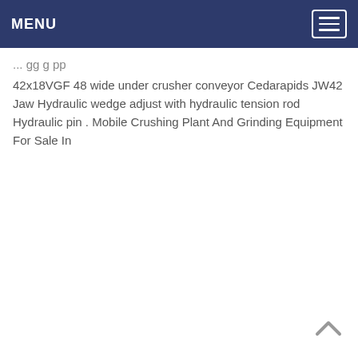MENU
42x18VGF 48 wide under crusher conveyor Cedarapids JW42 Jaw Hydraulic wedge adjust with hydraulic tension rod Hydraulic pin . Mobile Crushing Plant And Grinding Equipment For Sale In